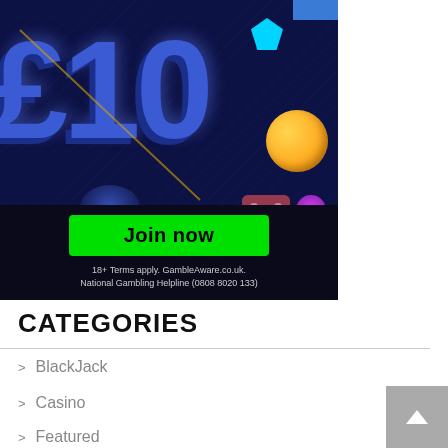[Figure (illustration): Online casino advertisement banner showing large blue 3D '£10' text on dark blue background with casino elements (cyan gem, gold coin, purple dot, dice, blue glow), a green 'Join now' button, and disclaimer text at bottom]
CATEGORIES
BlackJack
Casino
Featured
Gambling